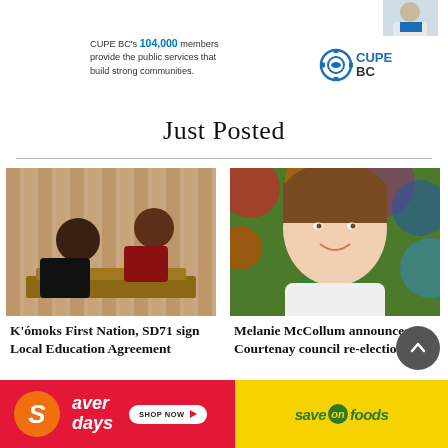[Figure (photo): Person photo top right corner, partial image of a person in a light-colored coat]
[Figure (logo): CUPE BC logo with gear/eye icon and text 'CUPE BC']
CUPE BC's 104,000 members provide the public services that build strong communities.
Just Posted
[Figure (photo): Two women working together at a wooden desk or podium, curtains in background]
K'ómoks First Nation, SD71 sign Local Education Agreement
[Figure (photo): Portrait of Melanie McCollum, a woman with short brown hair smiling, colorful foliage background]
Melanie McCollum announces Courtenay council re-election bid
[Figure (illustration): Save On Foods advertisement banner: red left half with 'Saver days' text and 'SHOP NOW' button, yellow right half with 'save on foods' green logo text]